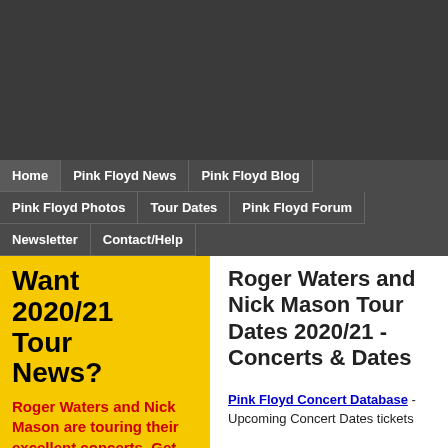[Figure (other): Dark gray banner/header area at the top of the page]
Home | Pink Floyd News | Pink Floyd Blog | Pink Floyd Photos | Tour Dates | Pink Floyd Forum | Newsletter | Contact/Help
Want 2020/21 Tour News?
Roger Waters and Nick Mason are touring their excellent concerts. Get the latest news from our free Newsletter
Follow us on
Roger Waters and Nick Mason Tour Dates 2020/21 - Concerts & Dates
Pink Floyd Concert Database - Upcoming Concert Dates tickets